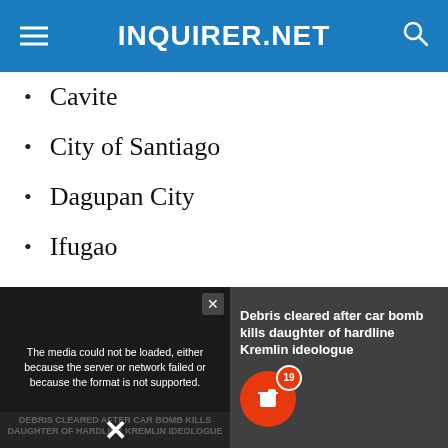INQUIRER.NET
Cavite
City of Santiago
Dagupan City
Ifugao
Ilocos Norte
Ilocos Sur
Isabela
Kalinga
[Figure (screenshot): Video player overlay showing a news story about debris cleared after car bomb kills daughter of hardline Kremlin ideologue. Shows media error message and video controls with X close button.]